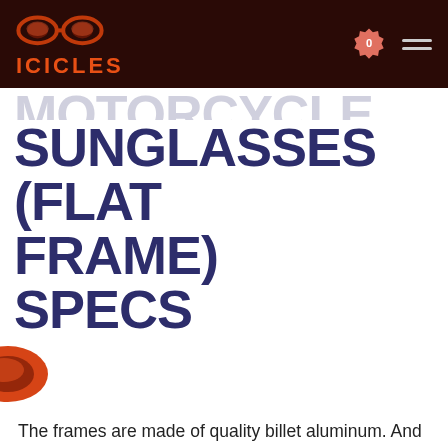ICICLES
SUNGLASSES (FLAT FRAME) SPECS
[Figure (illustration): Partial view of orange/red sunglasses with flat frame visible at the left edge]
The frames are made of quality billet aluminum. And the aluminum not only makes for a good looking pair of biker-